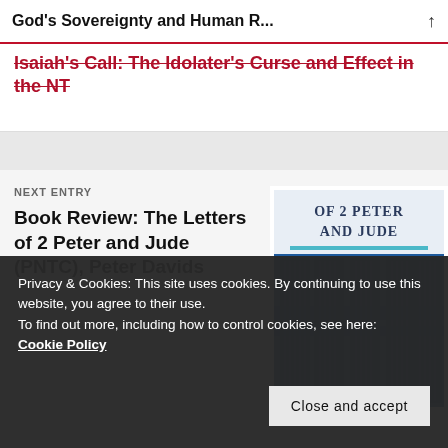God's Sovereignty and Human R...
Isaiah's Call: The Idolater's Curse and Effect in the NT
NEXT ENTRY
Book Review: The Letters of 2 Peter and Jude (PNTC), Peter Davids
[Figure (illustration): Book cover of 'The Letters of 2 Peter and Jude (PNTC)' by Peter Davids. Blue cover showing ancient Greek or Roman columns with text 'OF 2 PETER AND JUDE' displayed prominently.]
Privacy & Cookies: This site uses cookies. By continuing to use this website, you agree to their use.
To find out more, including how to control cookies, see here:
Cookie Policy
Close and accept